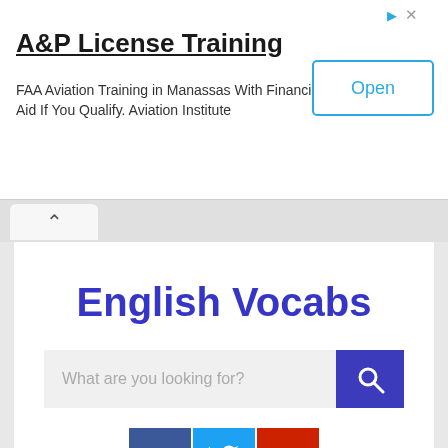[Figure (screenshot): Advertisement banner for A&P License Training. Title: 'A&P License Training'. Body text: 'FAA Aviation Training in Manassas With Financial Aid If You Qualify. Aviation Institute'. Has an 'Open' button on the right side.]
English Vocabs
What are you looking for?
[Figure (illustration): Social media icons row: Facebook (dark blue with 'f'), Twitter (light blue with bird), YouTube (red with play button)]
Menu